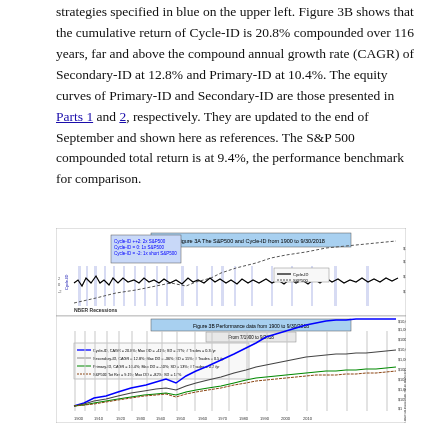strategies specified in blue on the upper left. Figure 3B shows that the cumulative return of Cycle-ID is 20.8% compounded over 116 years, far and above the compound annual growth rate (CAGR) of Secondary-ID at 12.8% and Primary-ID at 10.4%. The equity curves of Primary-ID and Secondary-ID are those presented in Parts 1 and 2, respectively. They are updated to the end of September and shown here as references. The S&P 500 compounded total return is at 9.4%, the performance benchmark for comparison.
[Figure (line-chart): Top panel: Figure 3A showing Cycle-ID indicator and S&P500 from 1900 to 9/30/2018 with NBER Recessions marked. Bottom panel: Figure 3B showing performance/equity curves for Cycle-ID (CAGR 20.8%), Secondary-ID (CAGR 12.8%), Primary-ID (CAGR 10.4%), and S&P500 Total Return (9.4%) from 1900 to 9/30/2018 on logarithmic scale.]
Figures 4A and 4B display contents similar to those shown in